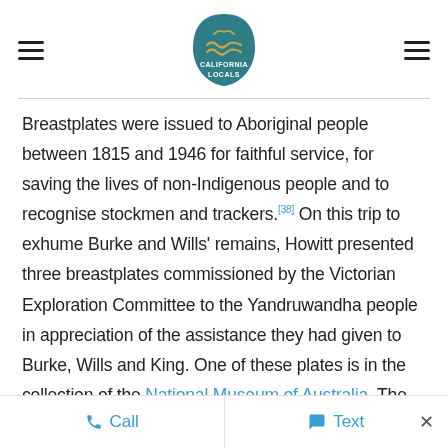California Locals logo with hamburger menu icons on left and right
Breastplates were issued to Aboriginal people between 1815 and 1946 for faithful service, for saving the lives of non-Indigenous people and to recognise stockmen and trackers.[38] On this trip to exhume Burke and Wills' remains, Howitt presented three breastplates commissioned by the Victorian Exploration Committee to the Yandruwandha people in appreciation of the assistance they had given to Burke, Wills and King. One of these plates is in the collection of the National Museum of Australia. The inscription on the plate states that it was presented "for the Humanity shewn to the Explorers Burke, Wills
Call   Text